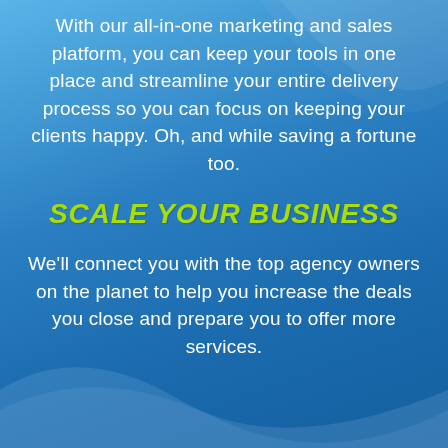With our all-in-one marketing and sales platform, you can keep your tools in one place and streamline your entire delivery process so you can focus on keeping your clients happy. Oh, and while saving a fortune too.
SCALE YOUR BUSINESS
We'll connect you with the top agency owners on the planet to help you increase the deals you close and prepare you to offer more services.